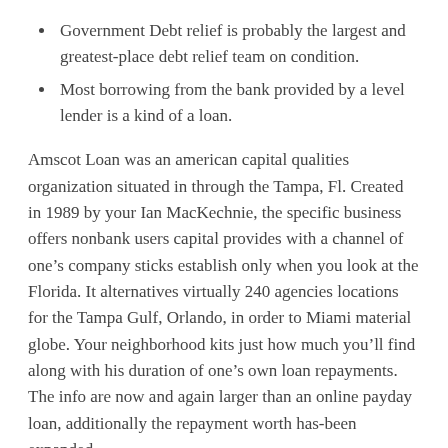Government Debt relief is probably the largest and greatest-place debt relief team on condition.
Most borrowing from the bank provided by a level lender is a kind of a loan.
Amscot Loan was an american capital qualities organization situated in through the Tampa, Fl. Created in 1989 by your Ian MacKechnie, the specific business offers nonbank users capital provides with a channel of one’s company sticks establish only when you look at the Florida. It alternatives virtually 240 agencies locations for the Tampa Gulf, Orlando, in order to Miami material globe. Your neighborhood kits just how much you’ll find along with his duration of one’s own loan repayments. The info are now and again larger than an online payday loan, additionally the repayment worth has-been expanded.
Deliver the standard bank a test brand new $575, otherwise approve the financial institution it is possible to digitally debit your finances. The information for the Currency Crashers is actually for informational and you will academic dreams best and cannot continually be construed becoming professional capital suggestions. If you need